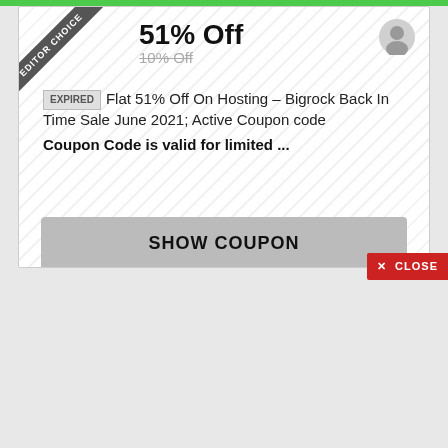EDITOR CHOICE
51% Off
10% Off
EXPIRED Flat 51% Off On Hosting – Bigrock Back In Time Sale June 2021; Active Coupon code
Coupon Code is valid for limited ...
SHOW COUPON
BR21TIME
BIGROCK HOSTING
Bigrock
Expired
5
0
CLOSE